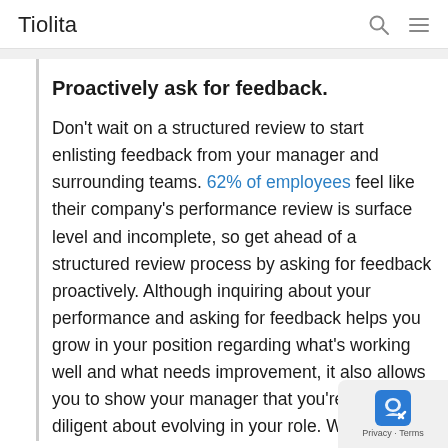Tiolita
Proactively ask for feedback.
Don't wait on a structured review to start enlisting feedback from your manager and surrounding teams. 62% of employees feel like their company's performance review is surface level and incomplete, so get ahead of a structured review process by asking for feedback proactively. Although inquiring about your performance and asking for feedback helps you grow in your position regarding what's working well and what needs improvement, it also allows you to show your manager that you're being diligent about evolving in your role. When